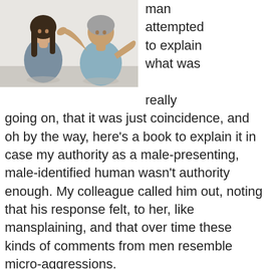[Figure (photo): Two people sitting facing each other. On the left, a woman with long dark hair, arms crossed, wearing a grey-blue top. On the right, a man with grey hair wearing a light blue shirt, gesturing with his hands as if explaining something.]
man attempted to explain what was really going on, that it was just coincidence, and oh by the way, here's a book to explain it in case my authority as a male-presenting, male-identified human wasn't authority enough. My colleague called him out, noting that his response felt, to her, like mansplaining, and that over time these kinds of comments from men resemble micro-aggressions.
I noted a comment or two later that this reminded me of when an ex-boyfriend tried to mansplain